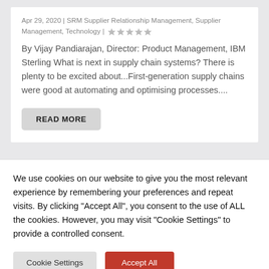Apr 29, 2020 | SRM Supplier Relationship Management, Supplier Management, Technology | ★★★★★
By Vijay Pandiarajan, Director: Product Management, IBM Sterling What is next in supply chain systems? There is plenty to be excited about...First-generation supply chains were good at automating and optimising processes....
READ MORE
We use cookies on our website to give you the most relevant experience by remembering your preferences and repeat visits. By clicking "Accept All", you consent to the use of ALL the cookies. However, you may visit "Cookie Settings" to provide a controlled consent.
Cookie Settings
Accept All